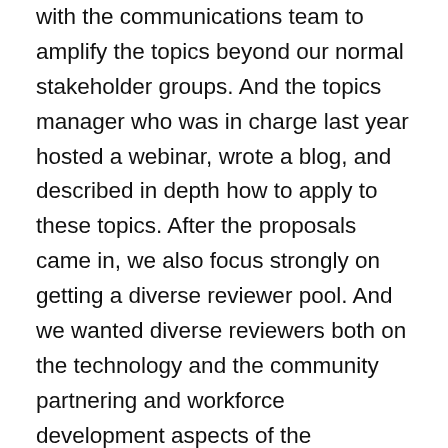with the communications team to amplify the topics beyond our normal stakeholder groups. And the topics manager who was in charge last year hosted a webinar, wrote a blog, and described in depth how to apply to these topics. After the proposals came in, we also focus strongly on getting a diverse reviewer pool. And we wanted diverse reviewers both on the technology and the community partnering and workforce development aspects of the proposals. Also, we treated the workforce development and community partnering aspects of the proposals as an R&D component of the project. And last, we set up a simple teaming mechanism so that organizations who may not have the resources to put in a full SBIR application themselves could have their names added to a partner list. And this